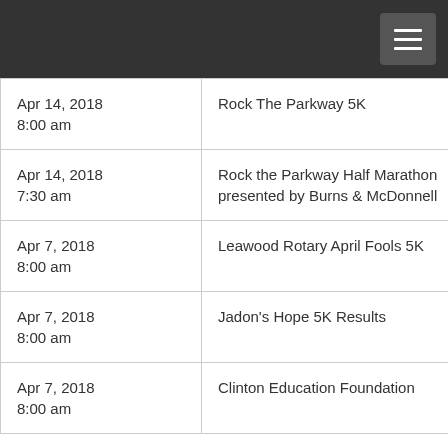| Date | Event |
| --- | --- |
| Apr 14, 2018
8:00 am | Rock The Parkway 5K |
| Apr 14, 2018
7:30 am | Rock the Parkway Half Marathon presented by Burns & McDonnell |
| Apr 7, 2018
8:00 am | Leawood Rotary April Fools 5K |
| Apr 7, 2018
8:00 am | Jadon's Hope 5K Results |
| Apr 7, 2018
8:00 am | Clinton Education Foundation |